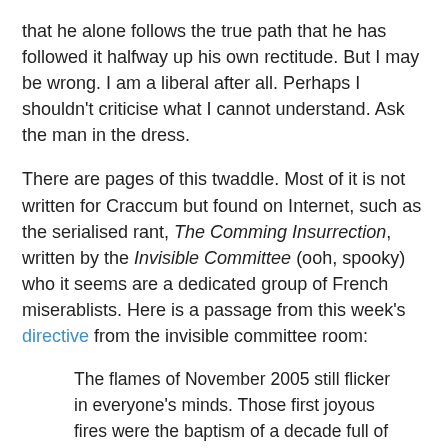that he alone follows the true path that he has followed it halfway up his own rectitude. But I may be wrong. I am a liberal after all. Perhaps I shouldn't criticise what I cannot understand. Ask the man in the dress.
There are pages of this twaddle. Most of it is not written for Craccum but found on Internet, such as the serialised rant, The Comming Insurrection, written by the Invisible Committee (ooh, spooky) who it seems are a dedicated group of French miserablists. Here is a passage from this week's directive from the invisible committee room:
The flames of November 2005 still flicker in everyone's minds. Those first joyous fires were the baptism of a decade full of promise. The media fable of “banlieue vs. the Republic” may work, but what it gains in effectiveness it loses in truth. Fires were lit in the city centers, but this news was methodically suppressed. Whole streets in Barcelona burned in solidarity, but no one knew about it apart from the people living there. And it’s not even true that the country has